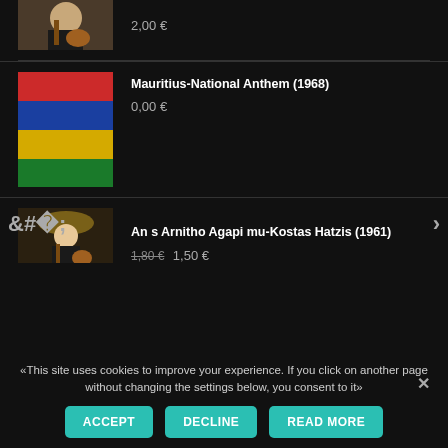2,00 €
[Figure (photo): Mauritius national flag - horizontal stripes of red, blue, yellow, green]
Mauritius-National Anthem (1968)
0,00 €
[Figure (photo): Musician playing guitar on dark stage]
An s Arnitho Agapi mu-Kostas Hatzis (1961)
1,80 € 1,50 €
[Figure (photo): Black and white photo of man playing guitar]
Mu fages ola ta Dahtilidia ( pitsirika ) Giorgos Mitsakis (1949)
1,80 € 1,50 €
[Figure (photo): Partial photo of woman, Agigma Psihis-Mihalis Hatzigianis]
Agigma Psihis-Mihalis Hatzigianis (1997)
«This site uses cookies to improve your experience. If you click on another page without changing the settings below, you consent to it»
ACCEPT   DECLINE   READ MORE